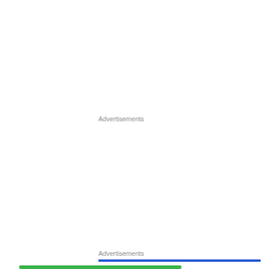Advertisements
Advertisements
[Figure (logo): Pressable logo with dark blue P icon and 'Pressable' wordmark, followed by a row of dots]
Privacy & Cookies: This site uses cookies. By continuing to use this website, you agree to their use.
To find out more, including how to control cookies, see here: Cookie Policy
Close and accept